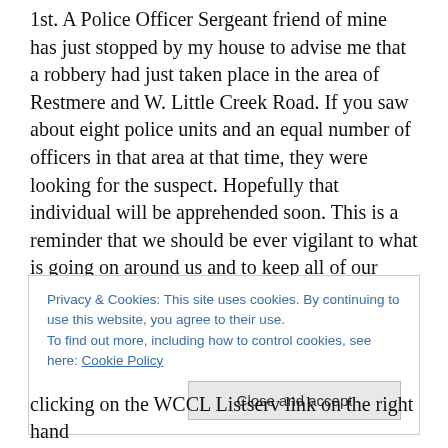1st. A Police Officer Sergeant friend of mine has just stopped by my house to advise me that a robbery had just taken place in the area of Restmere and W. Little Creek Road. If you saw about eight police units and an equal number of officers in that area at that time, they were looking for the suspect. Hopefully that individual will be apprehended soon. This is a reminder that we should be ever vigilant to what is going on around us and to keep all of our doors locked at all times. If you don't have one, consider getting a home security system. It's worth it. Another neighborhood alert option that we are publishing
Privacy & Cookies: This site uses cookies. By continuing to use this website, you agree to their use.
To find out more, including how to control cookies, see here: Cookie Policy
clicking on the WCCL Listserv link on the right hand